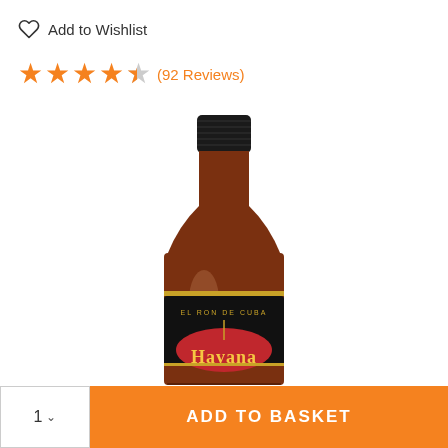Add to Wishlist
★★★★☆ (92 Reviews)
[Figure (photo): A bottle of Havana Club rum, showing the upper portion including the black screw cap, amber liquid body, and the distinctive black and red label reading 'Havana El Ron De Cuba', on a white background.]
1 ∨
ADD TO BASKET